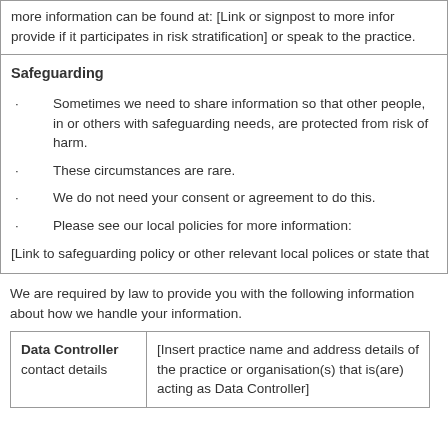more information can be found at: [Link or signpost to more information] provide if it participates in risk stratification] or speak to the practice.
Safeguarding
Sometimes we need to share information so that other people, in or others with safeguarding needs, are protected from risk of harm.
These circumstances are rare.
We do not need your consent or agreement to do this.
Please see our local policies for more information:
[Link to safeguarding policy or other relevant local polices or state that
We are required by law to provide you with the following information about how we handle your information.
| Data Controller contact details |  |
| --- | --- |
| Data Controller contact details | [Insert practice name and address details of the practice or organisation(s) that is(are) acting as Data Controller] |